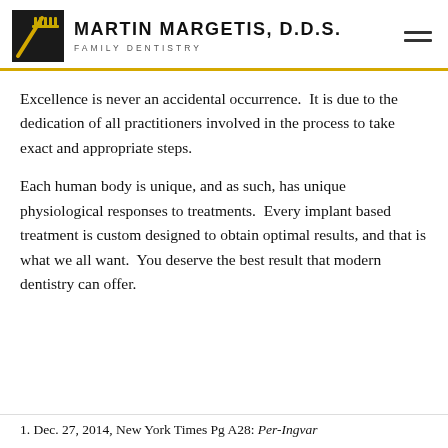Martin Margetis, D.D.S. Family Dentistry
Excellence is never an accidental occurrence.  It is due to the dedication of all practitioners involved in the process to take exact and appropriate steps.
Each human body is unique, and as such, has unique physiological responses to treatments.  Every implant based treatment is custom designed to obtain optimal results, and that is what we all want.  You deserve the best result that modern dentistry can offer.
1. Dec. 27, 2014, New York Times Pg A28: Per-Ingvar